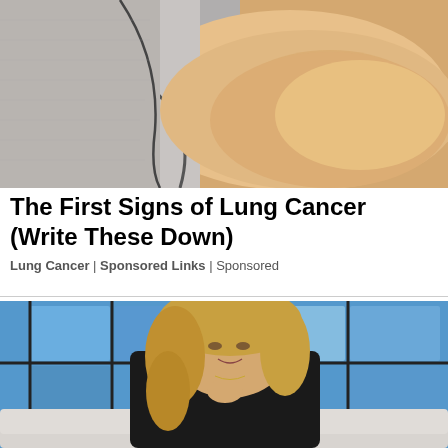[Figure (photo): Close-up photo of a person's arm/elbow area resting on a surface, showing skin texture]
The First Signs of Lung Cancer (Write These Down)
Lung Cancer | Sponsored Links | Sponsored
[Figure (photo): Woman with blonde hair wearing a black top, sitting on a white sofa with a blue geometric background, resting her chin on her hand and smiling]